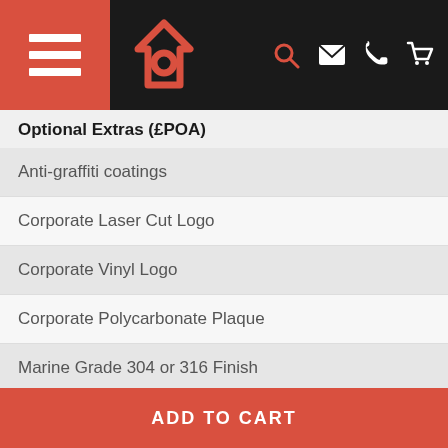[Figure (screenshot): Navigation bar with hamburger menu (red), house logo (red), and icons: search, email, phone, cart (white on black)]
Optional Extras (£POA)
Anti-graffiti coatings
Corporate Laser Cut Logo
Corporate Vinyl Logo
Corporate Polycarbonate Plaque
Marine Grade 304 or 316 Finish
Cigarette Stubbing Plate
Ash/Gum Stubbing Plate
Stirling Ashtray
ADD TO CART